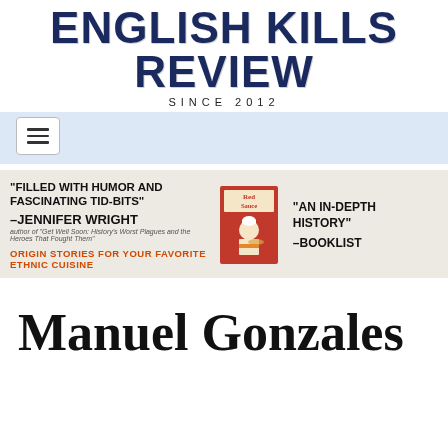ENGLISH KILLS REVIEW
SINCE 2012
[Figure (screenshot): Navigation bar with hamburger menu button on light blue background]
[Figure (infographic): Book advertisement banner for 'Red Sauce' — quotes: 'FILLED WITH HUMOR AND FASCINATING TID-BITS' – JENNIFER WRIGHT, author of 'Get Well Soon: History's Worst Plagues and the Heroes That Fought Them'; 'AN IN-DEPTH HISTORY' – BOOKLIST; tagline: ORIGIN STORIES FOR YOUR FAVORITE ETHNIC CUISINE; shows Red Sauce book cover with illustrated chef]
Manuel Gonzales